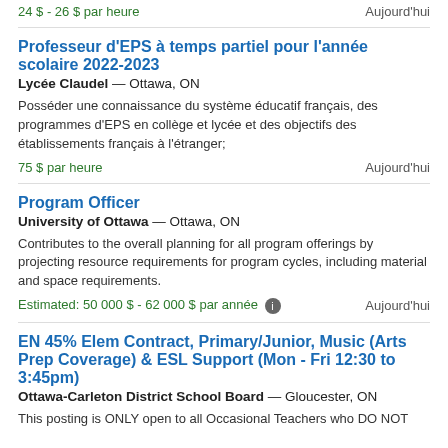24 $ - 26 $ par heure
Aujourd'hui
Professeur d'EPS à temps partiel pour l'année scolaire 2022-2023
Lycée Claudel — Ottawa, ON
Posséder une connaissance du système éducatif français, des programmes d'EPS en collège et lycée et des objectifs des établissements français à l'étranger;
75 $ par heure
Aujourd'hui
Program Officer
University of Ottawa — Ottawa, ON
Contributes to the overall planning for all program offerings by projecting resource requirements for program cycles, including material and space requirements.
Estimated: 50 000 $ - 62 000 $ par année
Aujourd'hui
EN 45% Elem Contract, Primary/Junior, Music (Arts Prep Coverage) & ESL Support (Mon - Fri 12:30 to 3:45pm)
Ottawa-Carleton District School Board — Gloucester, ON
This posting is ONLY open to all Occasional Teachers who DO NOT